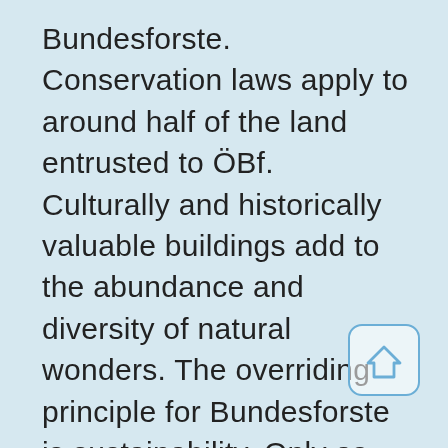Bundesforste. Conservation laws apply to around half of the land entrusted to ÖBf. Culturally and historically valuable buildings add to the abundance and diversity of natural wonders. The overriding principle for Bundesforste is sustainability. Only as much wood is removed from the forest as is constantly growing back. The conservation of nature and the environment, as well as the protection of social demands and interests, are just as important as achieving economic success. The core business of Bundesforste is forest management. Hunting and fishing activities